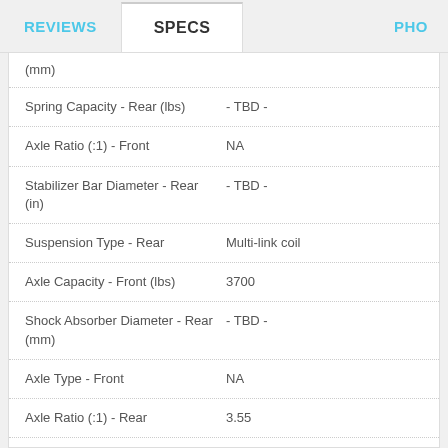REVIEWS | SPECS | PHO
| Specification | Value |
| --- | --- |
| (mm) |  |
| Spring Capacity - Rear (lbs) | - TBD - |
| Axle Ratio (:1) - Front | NA |
| Stabilizer Bar Diameter - Rear (in) | - TBD - |
| Suspension Type - Rear | Multi-link coil |
| Axle Capacity - Front (lbs) | 3700 |
| Shock Absorber Diameter - Rear (mm) | - TBD - |
| Axle Type - Front | NA |
| Axle Ratio (:1) - Rear | 3.55 |
| Spring Capacity - Front (lbs) | - TBD - |
| Axle Capacity - Rear (lbs) | 3900 |